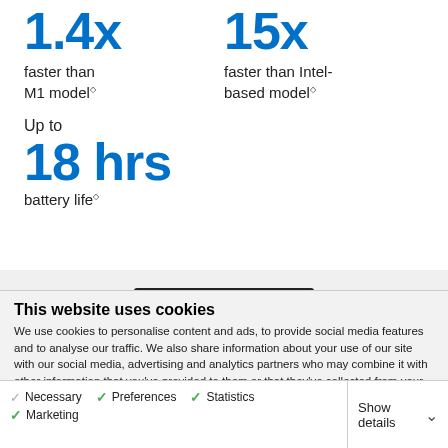1.4x faster than M1 model
15x faster than Intel-based model
Up to 18 hrs battery life
[Figure (screenshot): Partial laptop image showing dark top bar/bezel]
This website uses cookies
We use cookies to personalise content and ads, to provide social media features and to analyse our traffic. We also share information about your use of our site with our social media, advertising and analytics partners who may combine it with other information that you've provided to them or that they've collected from your use of their services.
OK
Necessary  Preferences  Statistics  Marketing  Show details